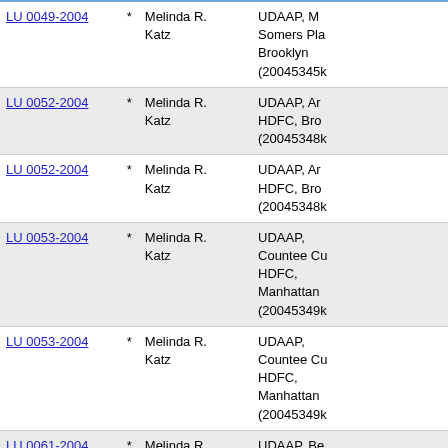| Case |  | Name | Description |
| --- | --- | --- | --- |
| LU 0049-2004 | * | Melinda R. Katz | UDAAP, M Somers Pla Brooklyn (20045345k |
| LU 0052-2004 | * | Melinda R. Katz | UDAAP, Ar HDFC, Bro (20045348k |
| LU 0052-2004 | * | Melinda R. Katz | UDAAP, Ar HDFC, Bro (20045348k |
| LU 0053-2004 | * | Melinda R. Katz | UDAAP, Countee Cu HDFC, Manhattan (20045349k |
| LU 0053-2004 | * | Melinda R. Katz | UDAAP, Countee Cu HDFC, Manhattan (20045349k |
| LU 0061-2004 | * | Melinda R. Katz | UDAAP, Be Rd South |